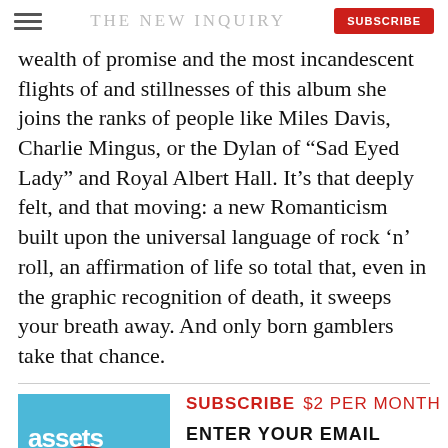THE NEW INQUIRY | SUBSCRIBE
wealth of promise and the most incandescent flights of and stillnesses of this album she joins the ranks of people like Miles Davis, Charlie Mingus, or the Dylan of “Sad Eyed Lady” and Royal Albert Hall. It’s that deeply felt, and that moving: a new Romanticism built upon the universal language of rock ‘n’ roll, an affirmation of life so total that, even in the graphic recognition of death, it sweeps your breath away. And only born gamblers take that chance.
[Figure (other): Subscribe promotional banner with 'assets' text on blue background with red circular element at bottom]
SUBSCRIBE  $2 PER MONTH
ENTER YOUR EMAIL